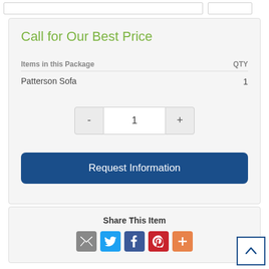Call for Our Best Price
| Items in this Package | QTY |
| --- | --- |
| Patterson Sofa | 1 |
1
Request Information
Share This Item
[Figure (infographic): Social share icons: Email, Twitter, Facebook, Pinterest, More (+)]